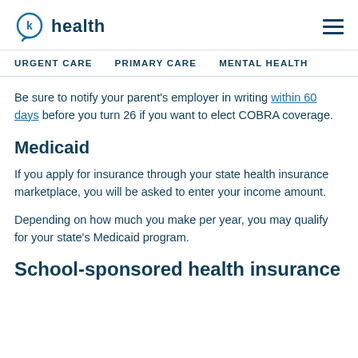k health | URGENT CARE | PRIMARY CARE | MENTAL HEALTH
Be sure to notify your parent's employer in writing within 60 days before you turn 26 if you want to elect COBRA coverage.
Medicaid
If you apply for insurance through your state health insurance marketplace, you will be asked to enter your income amount.
Depending on how much you make per year, you may qualify for your state's Medicaid program.
School-sponsored health insurance